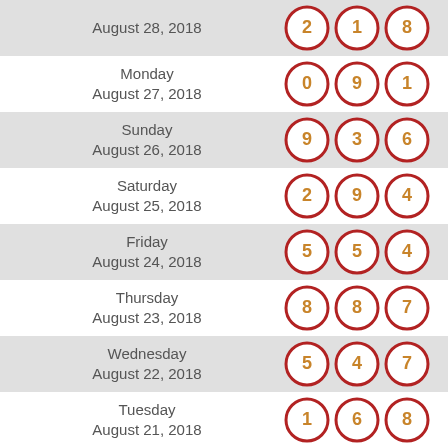August 28, 2018 — 2, 1, 8
Monday August 27, 2018 — 0, 9, 1
Sunday August 26, 2018 — 9, 3, 6
Saturday August 25, 2018 — 2, 9, 4
Friday August 24, 2018 — 5, 5, 4
Thursday August 23, 2018 — 8, 8, 7
Wednesday August 22, 2018 — 5, 4, 7
Tuesday August 21, 2018 — 1, 6, 8